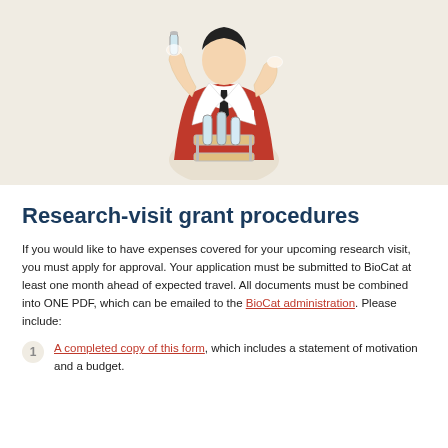[Figure (illustration): Illustration of a scientist in a red lab coat holding a test tube over a rack of test tubes, on a beige/cream background]
Research-visit grant procedures
If you would like to have expenses covered for your upcoming research visit, you must apply for approval. Your application must be submitted to BioCat at least one month ahead of expected travel. All documents must be combined into ONE PDF, which can be emailed to the BioCat administration. Please include:
A completed copy of this form, which includes a statement of motivation and a budget.